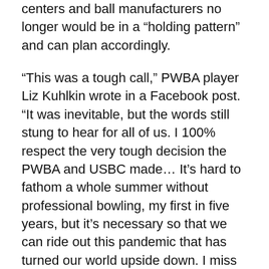centers and ball manufacturers no longer would be in a “holding pattern” and can plan accordingly.
“This was a tough call,” PWBA player Liz Kuhlkin wrote in a Facebook post. “It was inevitable, but the words still stung to hear for all of us. I 100% respect the very tough decision the PWBA and USBC made… It’s hard to fathom a whole summer without professional bowling, my first in five years, but it’s necessary so that we can ride out this pandemic that has turned our world upside down. I miss all my friends and supporters I see on tour. Already looking forward to 2021.”
The likelihood of having to limit fan attendance played a role in the decision. The potential restricted capacity of centers, mandated by state guidelines, meant the PWBA could not provide host centers with their primary customer engagement tool: the Bowl with the Pros events.